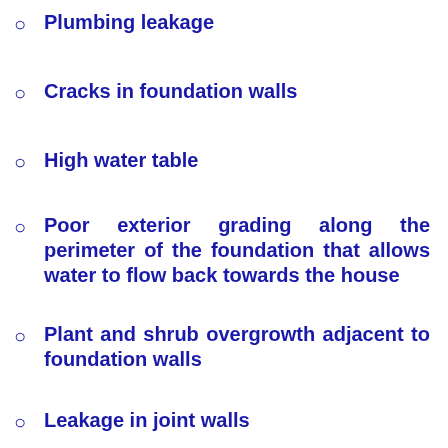Plumbing leakage
Cracks in foundation walls
High water table
Poor exterior grading along the perimeter of the foundation that allows water to flow back towards the house
Plant and shrub overgrowth adjacent to foundation walls
Leakage in joint walls